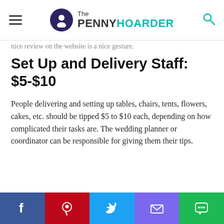The PENNY HOARDER
nice review on the website is a nice gesture.
Set Up and Delivery Staff: $5-$10
People delivering and setting up tables, chairs, tents, flowers, cakes, etc. should be tipped $5 to $10 each, depending on how complicated their tasks are. The wedding planner or coordinator can be responsible for giving them their tips.
[Figure (photo): Three men in suits outdoors at what appears to be a wedding ceremony, with trees in the background.]
Facebook | Pinterest | Twitter | Email | Chat